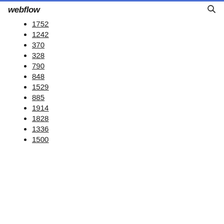webflow
1752
1242
370
328
790
848
1529
885
1914
1828
1336
1500